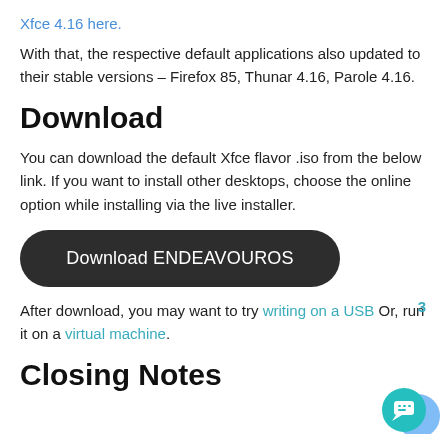Xfce 4.16 here.
With that, the respective default applications also updated to their stable versions – Firefox 85, Thunar 4.16, Parole 4.16.
Download
You can download the default Xfce flavor .iso from the below link. If you want to install other desktops, choose the online option while installing via the live installer.
Download ENDEAVOUROS
After download, you may want to try writing on a USB Or, run it on a virtual machine.
Closing Notes